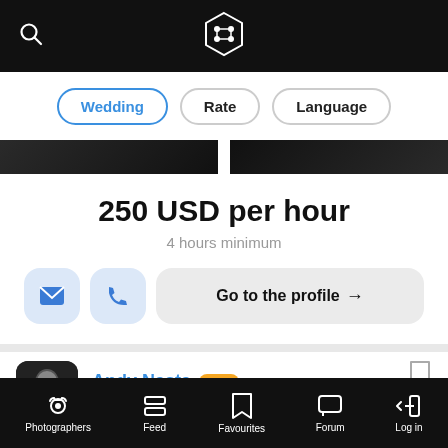[Figure (screenshot): Mobile app top navigation bar with search icon and hexagonal logo on black background]
Wedding
Rate
Language
[Figure (photo): Dark black and white photo strip showing partially visible images]
250 USD per hour
4 hours minimum
[Figure (screenshot): Action buttons: email icon, phone icon, and Go to the profile button]
Andy Nasta PRO
New York, United States
Photographers   Feed   Favourites   Forum   Log in